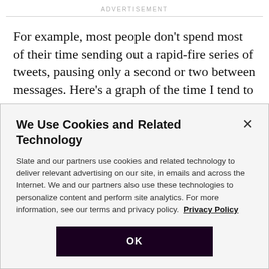ADVERTISEMENT
For example, most people don't spend most of their time sending out a rapid-fire series of tweets, pausing only a second or two between messages. Here's a graph of the time I tend to pause between tweets; the x-axis represents the time in seconds, while the y-axis
We Use Cookies and Related Technology
Slate and our partners use cookies and related technology to deliver relevant advertising on our site, in emails and across the Internet. We and our partners also use these technologies to personalize content and perform site analytics. For more information, see our terms and privacy policy. Privacy Policy
OK